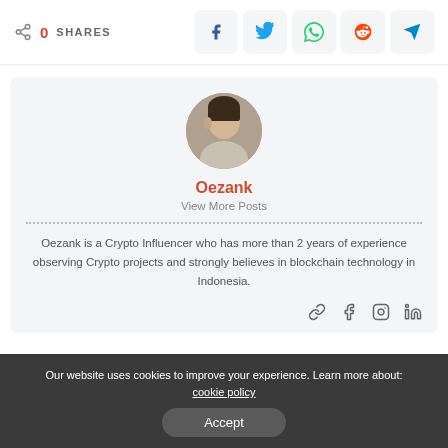0 SHARES
[Figure (illustration): Social share bar with Facebook, Twitter, WhatsApp, Reddit, and Telegram icons]
[Figure (photo): Circular author avatar photo of Oezank]
Oezank
View More Posts
Oezank is a Crypto Influencer who has more than 2 years of experience observing Crypto projects and strongly believes in blockchain technology in Indonesia.
[Figure (illustration): Social icons: link, facebook, instagram, linkedin]
Our website uses cookies to improve your experience. Learn more about: cookie policy
Accept